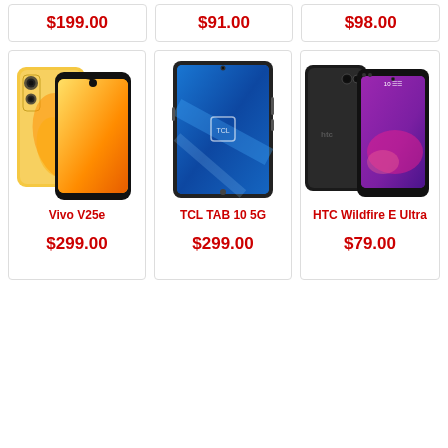$199.00
$91.00
$98.00
[Figure (photo): Vivo V25e smartphone in golden/yellow color shown from front and back]
Vivo V25e
$299.00
[Figure (photo): TCL TAB 10 5G tablet in dark/black color with blue screen]
TCL TAB 10 5G
$299.00
[Figure (photo): HTC Wildfire E Ultra smartphone shown from front and back with purple display]
HTC Wildfire E Ultra
$79.00